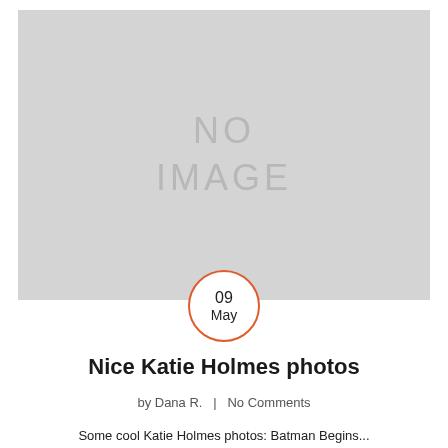[Figure (photo): Gray placeholder image with 'NO IMAGE' text in the center]
09 May
Nice Katie Holmes photos
by Dana R.   |   No Comments
Some cool Katie Holmes photos: Batman Begins...